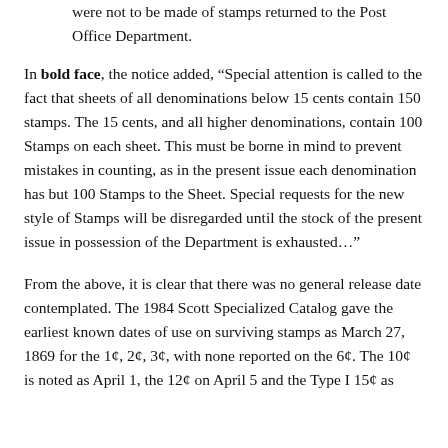were not to be made of stamps returned to the Post Office Department.
In bold face, the notice added, “Special attention is called to the fact that sheets of all denominations below 15 cents contain 150 stamps. The 15 cents, and all higher denominations, contain 100 Stamps on each sheet. This must be borne in mind to prevent mistakes in counting, as in the present issue each denomination has but 100 Stamps to the Sheet. Special requests for the new style of Stamps will be disregarded until the stock of the present issue in possession of the Department is exhausted…”
From the above, it is clear that there was no general release date contemplated. The 1984 Scott Specialized Catalog gave the earliest known dates of use on surviving stamps as March 27, 1869 for the 1¢, 2¢, 3¢, with none reported on the 6¢. The 10¢ is noted as April 1, the 12¢ on April 5 and the Type I 15¢ as